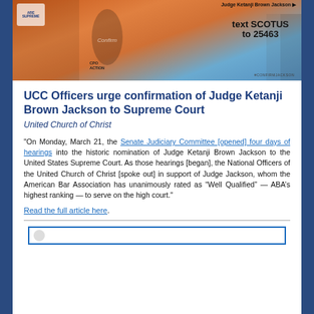[Figure (photo): Photo of a protest banner supporting Judge Ketanji Brown Jackson's confirmation to the Supreme Court. Banner reads 'Judge Ketanji Brown Jackson', 'text SCOTUS to 25463', with CPO Action branding and #ConfirmJackson hashtag. People visible around banner.]
UCC Officers urge confirmation of Judge Ketanji Brown Jackson to Supreme Court
United Church of Christ
"On Monday, March 21, the Senate Judiciary Committee [opened] four days of hearings into the historic nomination of Judge Ketanji Brown Jackson to the United States Supreme Court. As those hearings [began], the National Officers of the United Church of Christ [spoke out] in support of Judge Jackson, whom the American Bar Association has unanimously rated as “Well Qualified” — ABA’s highest ranking — to serve on the high court."
Read the full article here.
[Figure (other): Bottom partial image showing a framed section with a circular logo/icon, partially cut off at the bottom of the page.]